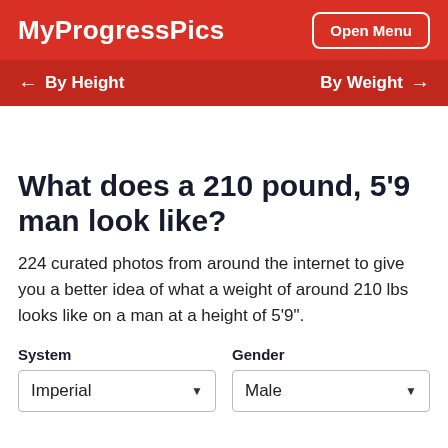MyProgressPics
Open Menu
← By Height
By Weight →
What does a 210 pound, 5'9 man look like?
224 curated photos from around the internet to give you a better idea of what a weight of around 210 lbs looks like on a man at a height of 5'9".
System
Imperial
Gender
Male